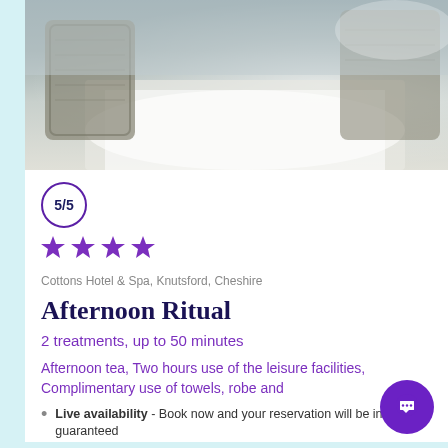[Figure (photo): Outdoor restaurant dining table with wicker chairs and white tablecloth, photographed from above-angle. Blurred background with bright white linen and grey woven furniture.]
5/5
[Figure (infographic): Four purple star rating icons in a row]
Cottons Hotel & Spa, Knutsford, Cheshire
Afternoon Ritual
2 treatments, up to 50 minutes
Afternoon tea, Two hours use of the leisure facilities, Complimentary use of towels, robe and
Live availability - Book now and your reservation will be instantly guaranteed